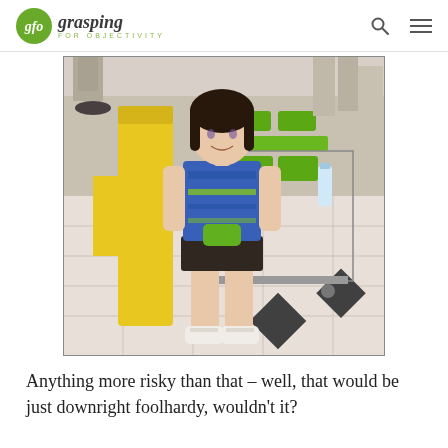gfo grasping FOR OBJECTIVITY
[Figure (photo): A young girl with dark hair standing in a mall or store, wearing a blue patterned tank top and dark shorts, holding a green item. Behind her is a yellow display and a cart with green items.]
Anything more risky than that – well, that would be just downright foolhardy, wouldn't it?